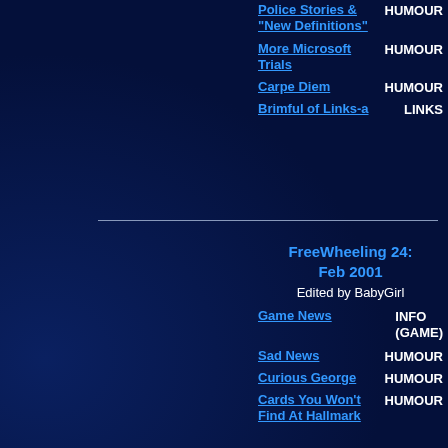Police Stories & "New Definitions" | HUMOUR
More Microsoft Trials | HUMOUR
Carpe Diem | HUMOUR
Brimful of Links-a | LINKS
FreeWheeling 24: Feb 2001
Edited by BabyGirl
Game News | INFO (GAME)
Sad News | HUMOUR
Curious George | HUMOUR
Cards You Won't Find At Hallmark | HUMOUR